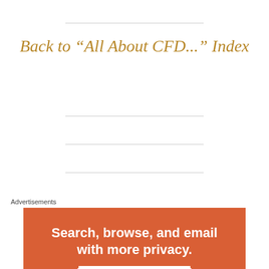Back to “All About CFD...” Index
Advertisements
[Figure (other): Advertisement banner with orange/red background showing text: Search, browse, and email with more privacy. All in One Free App]